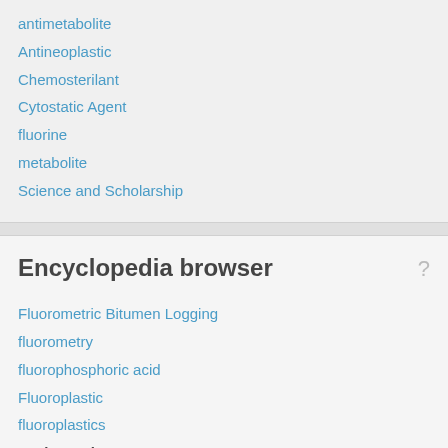antimetabolite
Antineoplastic
Chemosterilant
Cytostatic Agent
fluorine
metabolite
Science and Scholarship
Encyclopedia browser
Fluorometric Bitumen Logging
fluorometry
fluorophosphoric acid
Fluoroplastic
fluoroplastics
► Fluoroplex
fluoropolymers
fluoroscope
fluoroscopic image intensifier
fluoroscopy